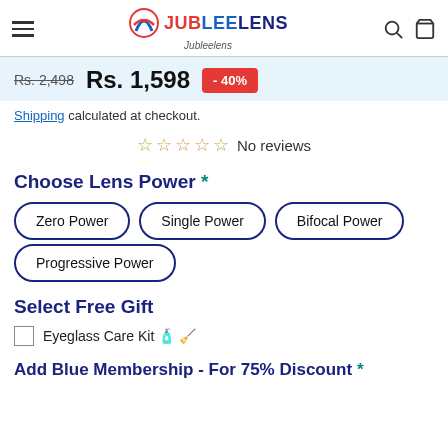JubleeLens header with hamburger menu, logo, search and cart icons
Rs. 2,498  Rs. 1,598  -40%
Shipping calculated at checkout.
☆ ☆ ☆ ☆ ☆ No reviews
Choose Lens Power *
Zero Power
Single Power
Bifocal Power
Progressive Power
Select Free Gift
Eyeglass Care Kit 🧴🧹
Add Blue Membership - For 75% Discount *